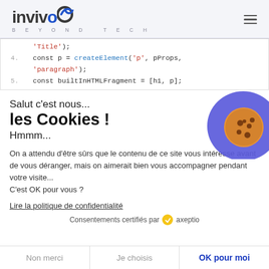[Figure (logo): Invivoo logo with 'BEYOND TECH' tagline and hamburger menu icon]
'Title');
    const p = createElement('p', pProps,
    'paragraph');
    const builtInHTMLFragment = [h1, p];
Salut c'est nous...
les Cookies !
Hmmm...
[Figure (illustration): Cookie illustration with blue blob and chocolate chip cookie]
On a attendu d'être sûrs que le contenu de ce site vous intéresse avant de vous déranger, mais on aimerait bien vous accompagner pendant votre visite...
C'est OK pour vous ?
Lire la politique de confidentialité
Consentements certifiés par  axeptio
Non merci   Je choisis   OK pour moi